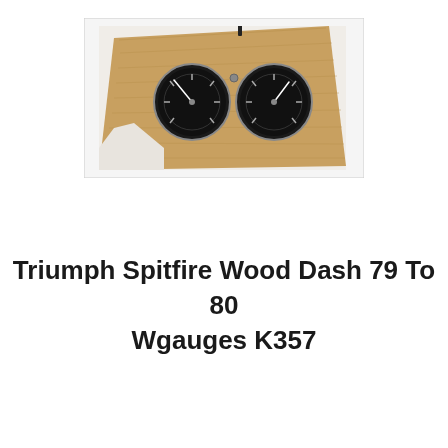[Figure (photo): A Triumph Spitfire wooden dashboard panel (1979-1980) with wood veneer finish, featuring two large round black gauges — a tachometer and a speedometer — mounted on the panel. The panel is photographed against a white background.]
Triumph Spitfire Wood Dash 79 To 80 Wgauges K357